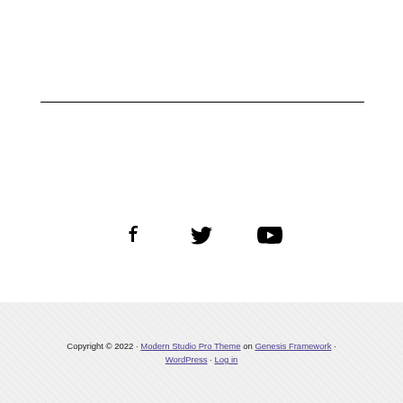[Figure (other): Horizontal divider line separating content from footer area]
[Figure (other): Social media icons: Facebook (f), Twitter (bird), YouTube (play button rectangle)]
Copyright © 2022 · Modern Studio Pro Theme on Genesis Framework · WordPress · Log in